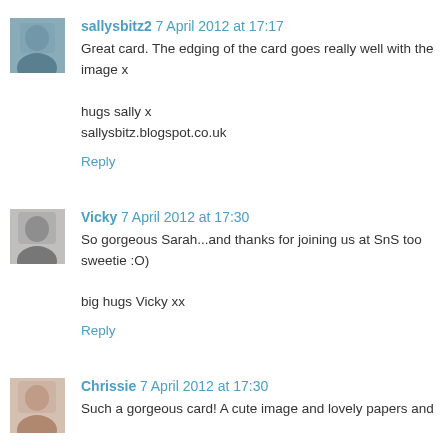[Figure (photo): Avatar photo of sallysbitz2 commenter]
sallysbitz2 7 April 2012 at 17:17
Great card. The edging of the card goes really well with the image x

hugs sally x
sallysbitz.blogspot.co.uk

Reply
[Figure (photo): Avatar photo of Vicky commenter]
Vicky 7 April 2012 at 17:30
So gorgeous Sarah...and thanks for joining us at SnS too sweetie :O)

big hugs Vicky xx

Reply
[Figure (photo): Avatar photo of Chrissie commenter]
Chrissie 7 April 2012 at 17:30
Such a gorgeous card! A cute image and lovely papers and